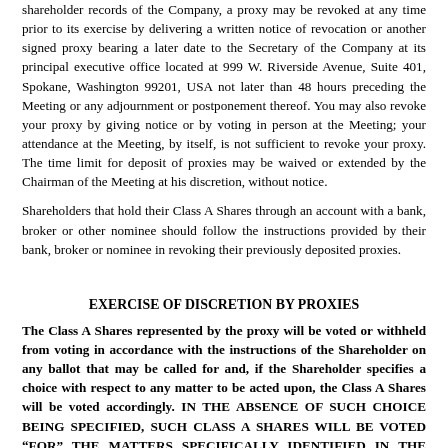shareholder records of the Company, a proxy may be revoked at any time prior to its exercise by delivering a written notice of revocation or another signed proxy bearing a later date to the Secretary of the Company at its principal executive office located at 999 W. Riverside Avenue, Suite 401, Spokane, Washington 99201, USA not later than 48 hours preceding the Meeting or any adjournment or postponement thereof. You may also revoke your proxy by giving notice or by voting in person at the Meeting; your attendance at the Meeting, by itself, is not sufficient to revoke your proxy. The time limit for deposit of proxies may be waived or extended by the Chairman of the Meeting at his discretion, without notice.
Shareholders that hold their Class A Shares through an account with a bank, broker or other nominee should follow the instructions provided by their bank, broker or nominee in revoking their previously deposited proxies.
EXERCISE OF DISCRETION BY PROXIES
The Class A Shares represented by the proxy will be voted or withheld from voting in accordance with the instructions of the Shareholder on any ballot that may be called for and, if the Shareholder specifies a choice with respect to any matter to be acted upon, the Class A Shares will be voted accordingly. IN THE ABSENCE OF SUCH CHOICE BEING SPECIFIED, SUCH CLASS A SHARES WILL BE VOTED “FOR” THE MATTERS SPECIFICALLY IDENTIFIED IN THE NOTICE OF ANNUAL